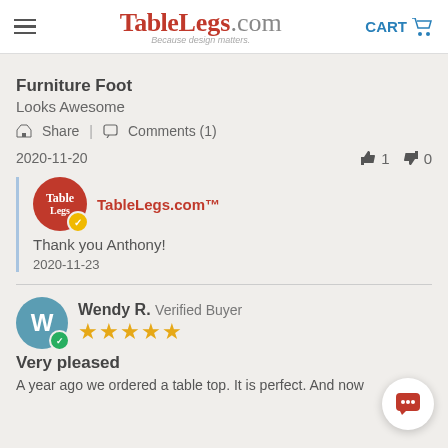TableLegs.com — Because design matters. CART
Furniture Foot
Looks Awesome
Share | Comments (1)
2020-11-20   👍 1  👎 0
TableLegs.com™
Thank you Anthony!
2020-11-23
Wendy R. Verified Buyer ★★★★★
Very pleased
A year ago we ordered a table top. It is perfect. And now